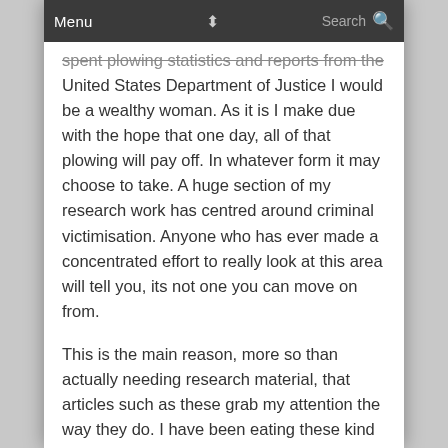Menu  ⬍  Search 🔍
spent plowing statistics and reports from the United States Department of Justice I would be a wealthy woman. As it is I make due with the hope that one day, all of that plowing will pay off. In whatever form it may choose to take. A huge section of my research work has centred around criminal victimisation. Anyone who has ever made a concentrated effort to really look at this area will tell you, its not one you can move on from.
This is the main reason, more so than actually needing research material, that articles such as these grab my attention the way they do. I have been eating these kind of reports up for the past two years. I use to think that if I crunched the numbers enough and swirled them around on paper with their buddies that I would be able to make some sense of the real life events that the